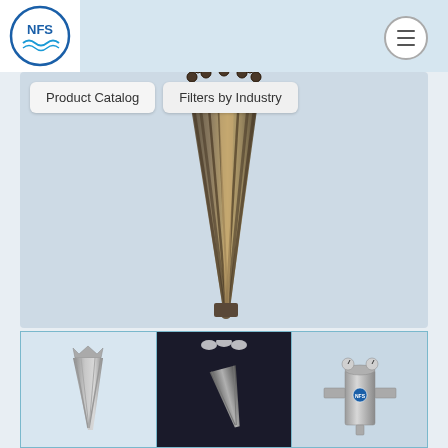[Figure (logo): NFS company circular logo with blue text and wave graphic]
Product Catalog
Filters by Industry
[Figure (photo): Large conical metal industrial filter/strainer basket with ribbed exterior and bolt attachments at top, shown vertically on grey background]
[Figure (photo): Small thumbnail: conical metal filter strainer basket on light background]
[Figure (photo): Small thumbnail: conical metal filter strainer on dark/spotlight background]
[Figure (photo): Small thumbnail: stainless steel industrial duplex filter housing with gauges and piping connections]